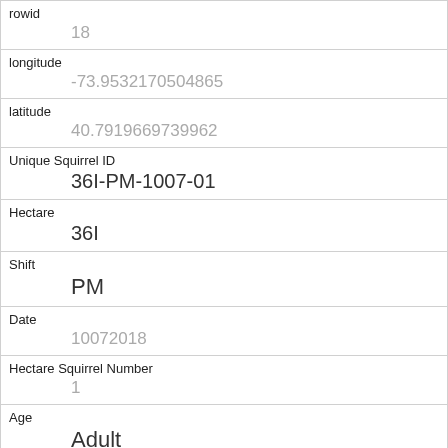| rowid | 18 |
| longitude | -73.9532170504865 |
| latitude | 40.7919669739962 |
| Unique Squirrel ID | 36I-PM-1007-01 |
| Hectare | 36I |
| Shift | PM |
| Date | 10072018 |
| Hectare Squirrel Number | 1 |
| Age | Adult |
| Primary Fur Color | Gray |